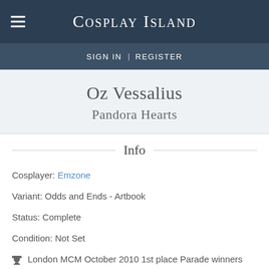Cosplay Island
SIGN IN | REGISTER
Oz Vessalius
Pandora Hearts
Info
Cosplayer: Emzone
Variant: Odds and Ends - Artbook
Status: Complete
Condition: Not Set
🏆 London MCM October 2010 1st place Parade winners
🖥 Watch on Youtube
☆ Showcased 24th July 2011